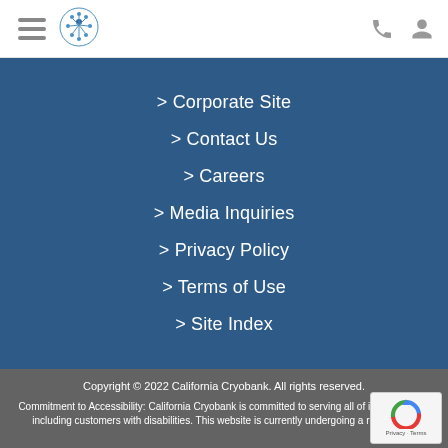[Figure (logo): California Cryobank snowflake/people logo in blue]
> Corporate Site
> Contact Us
> Careers
> Media Inquiries
> Privacy Policy
> Terms of Use
> Site Index
Copyright © 2022 California Cryobank. All rights reserved.

Commitment to Accessibility: California Cryobank is committed to serving all of its customers, including customers with disabilities. This website is currently undergoing a redesign to